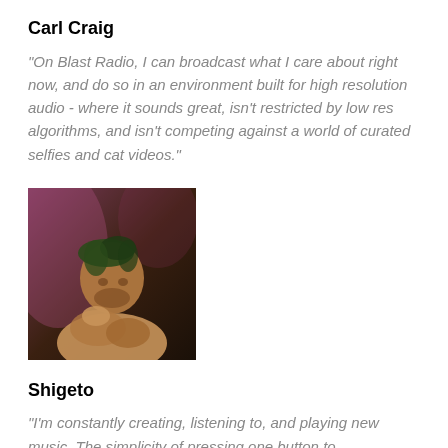Carl Craig
“On Blast Radio, I can broadcast what I care about right now, and do so in an environment built for high resolution audio - where it sounds great, isn’t restricted by low res algorithms, and isn’t competing against a world of curated selfies and cat videos.”
[Figure (photo): A person sitting in a dimly lit environment, possibly at a music console, with warm tones.]
Shigeto
“I’m constantly creating, listening to, and playing new music. The simplicity of pressing one button to